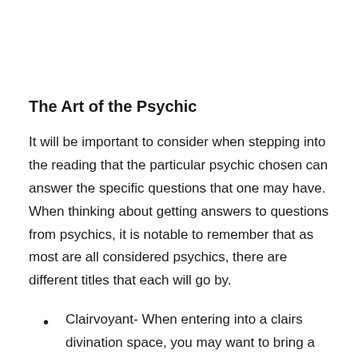The Art of the Psychic
It will be important to consider when stepping into the reading that the particular psychic chosen can answer the specific questions that one may have. When thinking about getting answers to questions from psychics, it is notable to remember that as most are all considered psychics, there are different titles that each will go by.
Clairvoyant- When entering into a clairs divination space, you may want to bring a